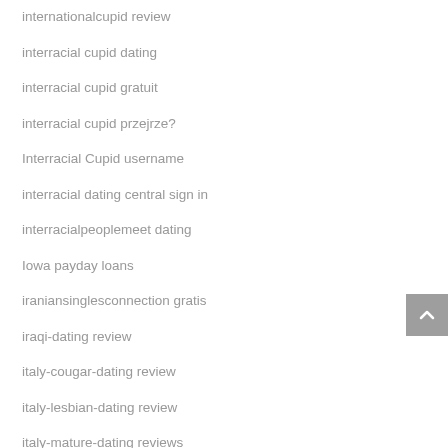internationalcupid review
interracial cupid dating
interracial cupid gratuit
interracial cupid przejrze?
Interracial Cupid username
interracial dating central sign in
interracialpeoplemeet dating
Iowa payday loans
iraniansinglesconnection gratis
iraqi-dating review
italy-cougar-dating review
italy-lesbian-dating review
italy-mature-dating reviews